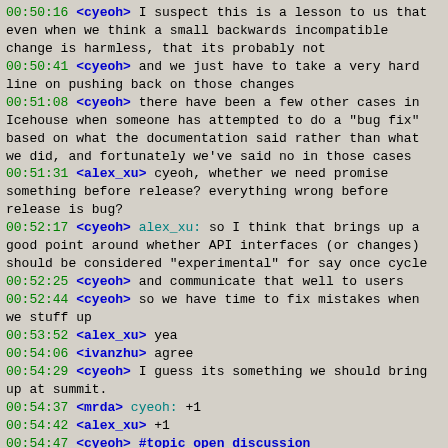00:50:16 <cyeoh> I suspect this is a lesson to us that even when we think a small backwards incompatible change is harmless, that its probably not
00:50:41 <cyeoh> and we just have to take a very hard line on pushing back on those changes
00:51:08 <cyeoh> there have been a few other cases in Icehouse when someone has attempted to do a "bug fix" based on what the documentation said rather than what we did, and fortunately we've said no in those cases
00:51:31 <alex_xu> cyeoh, whether we need promise something before release? everything wrong before release is bug?
00:52:17 <cyeoh> alex_xu: so I think that brings up a good point around whether API interfaces (or changes) should be considered "experimental" for say once cycle
00:52:25 <cyeoh> and communicate that well to users
00:52:44 <cyeoh> so we have time to fix mistakes when we stuff up
00:53:52 <alex_xu> yea
00:54:06 <ivanzhu> agree
00:54:29 <cyeoh> I guess its something we should bring up at summit.
00:54:37 <mrda> cyeoh: +1
00:54:42 <alex_xu> +1
00:54:47 <cyeoh> #topic open discussion
00:55:05 <cyeoh> anyone have anything they want to bring up?
00:56:04 <ken1ohmichi> in v2.1 PoC implementation, "create a server" API has been done. how to do PoC?
00:56:04 <cyeoh> ok then. Thanks everyone for